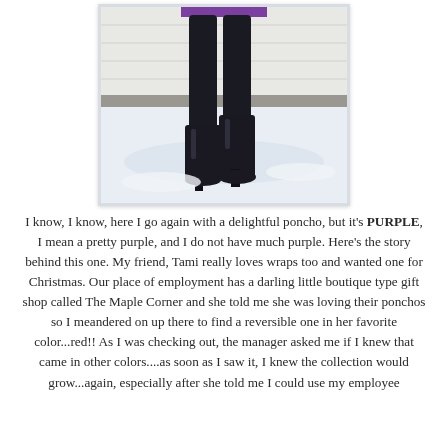[Figure (photo): Photo of a person's lower body wearing dark/black leggings and black high-heeled boots, standing on snow-covered ground near a building with white siding. A purple item (poncho) is visible at the very top of the frame.]
I know, I know, here I go again with a delightful poncho, but it's PURPLE, I mean a pretty purple, and I do not have much purple. Here's the story behind this one. My friend, Tami really loves wraps too and wanted one for Christmas. Our place of employment has a darling little boutique type gift shop called The Maple Corner and she told me she was loving their ponchos so I meandered on up there to find a reversible one in her favorite color...red!! As I was checking out, the manager asked me if I knew that came in other colors....as soon as I saw it, I knew the collection would grow...again, especially after she told me I could use my employee